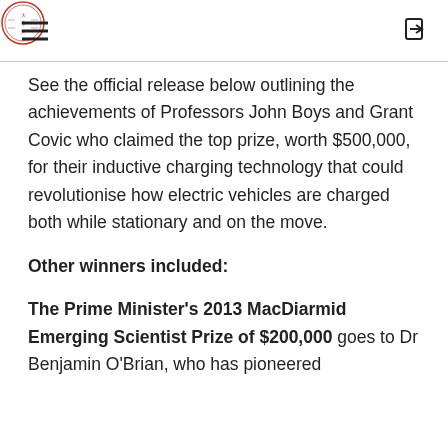[hamburger menu] [University seal logo] [login icon]
See the official release below outlining the achievements of Professors John Boys and Grant Covic who claimed the top prize, worth $500,000, for their inductive charging technology that could revolutionise how electric vehicles are charged both while stationary and on the move.
Other winners included:
The Prime Minister's 2013 MacDiarmid Emerging Scientist Prize of $200,000 goes to Dr Benjamin O'Brian, who has pioneered